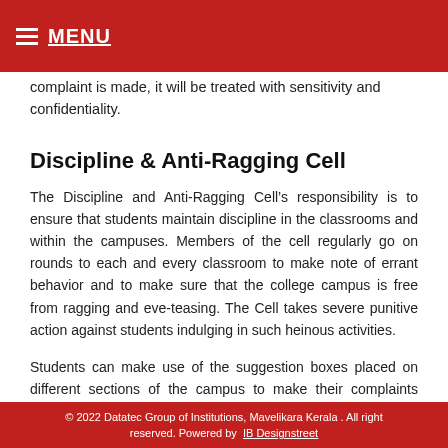MENU
complaint is made, it will be treated with sensitivity and confidentiality.
Discipline & Anti-Ragging Cell
The Discipline and Anti-Ragging Cell’s responsibility is to ensure that students maintain discipline in the classrooms and within the campuses. Members of the cell regularly go on rounds to each and every classroom to make note of errant behavior and to make sure that the college campus is free from ragging and eve-teasing. The Cell takes severe punitive action against students indulging in such heinous activities.
Students can make use of the suggestion boxes placed on different sections of the campus to make their complaints regarding ragging. They may also approach the members of the cell or any of the college authorities
© 2022 Datatec Group of Institutions, Mavelikara Kerala . All right reserved. Powered by IB Designstreet